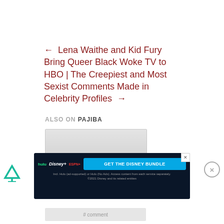← Lena Waithe and Kid Fury Bring Queer Black Woke TV to HBO | The Creepiest and Most Sexist Comments Made in Celebrity Profiles →
ALSO ON PAJIBA
[Figure (screenshot): Carousel widget with left and right navigation arrows on a gray gradient background]
[Figure (logo): Perion advertising network icon (green triangle/funnel shape)]
[Figure (screenshot): Disney Bundle advertisement banner with Hulu, Disney+, ESPN+ logos and 'GET THE DISNEY BUNDLE' button. Fine print: Incl. Hulu (ad-supported) or Hulu (No Ads). Access content from each service separately. ©2021 Disney and its related entities]
# comment